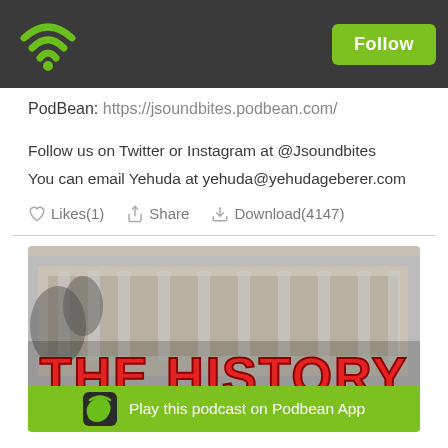PodBean header with WiFi logo and Follow button
PodBean: https://jsoundbites.podbean.com/
Follow us on Twitter or Instagram at @Jsoundbites
You can email Yehuda at yehuda@yehudageberer.com
Likes(1)  Share  Download(4147)
[Figure (screenshot): Podcast cover image showing historical black and white building photo with large red text 'THE HISTORY' and partial text 'OF SOVIET JEWRY' below, with a green Play this podcast on Podbean App banner at bottom]